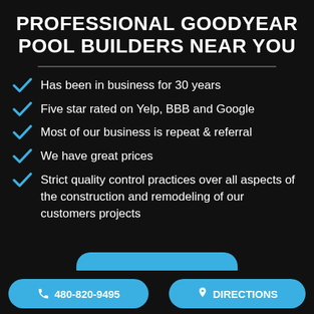PROFESSIONAL GOODYEAR POOL BUILDERS NEAR YOU
Has been in business for 30 years
Five star rated on Yelp, BBB and Google
Most of our business is repeat & referral
We have great prices
Strict quality control practices over all aspects of the construction and remodeling of our customers projects
480-820-9495
DIRECTIONS